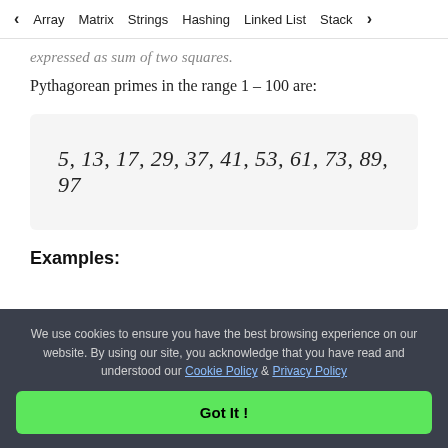< Array  Matrix  Strings  Hashing  Linked List  Stack >
expressed as sum of two squares.
Pythagorean primes in the range 1 – 100 are:
[Figure (other): Code/output block showing: 5, 13, 17, 29, 37, 41, 53, 61, 73, 89, 97]
Examples:
We use cookies to ensure you have the best browsing experience on our website. By using our site, you acknowledge that you have read and understood our Cookie Policy & Privacy Policy
Got It !